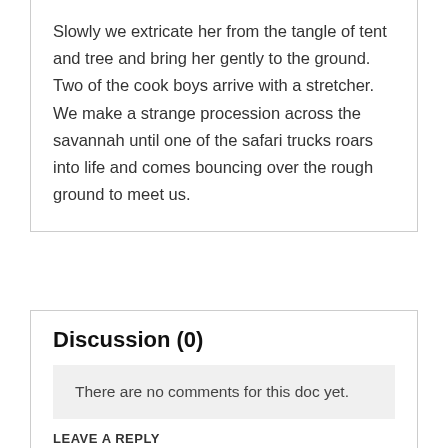Slowly we extricate her from the tangle of tent and tree and bring her gently to the ground. Two of the cook boys arrive with a stretcher. We make a strange procession across the savannah until one of the safari trucks roars into life and comes bouncing over the rough ground to meet us.
Discussion (0)
There are no comments for this doc yet.
LEAVE A REPLY